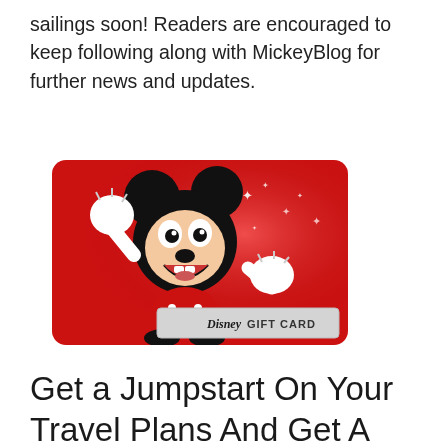sailings soon! Readers are encouraged to keep following along with MickeyBlog for further news and updates.
[Figure (illustration): A Disney Gift Card featuring Mickey Mouse with arms outstretched on a red sparkly background, with a banner reading 'Disney GIFT CARD']
Get a Jumpstart On Your Travel Plans And Get A FREE Disney Gift